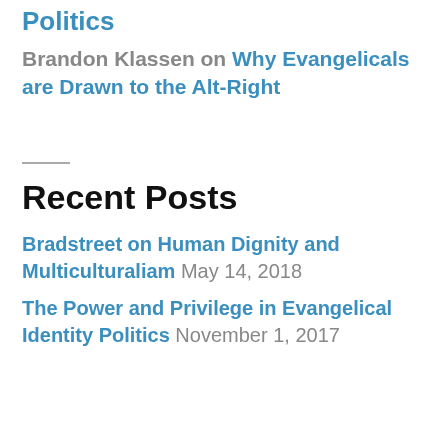Politics
Brandon Klassen on Why Evangelicals are Drawn to the Alt-Right
Recent Posts
Bradstreet on Human Dignity and Multiculturaliam  May 14, 2018
The Power and Privilege in Evangelical Identity Politics  November 1, 2017